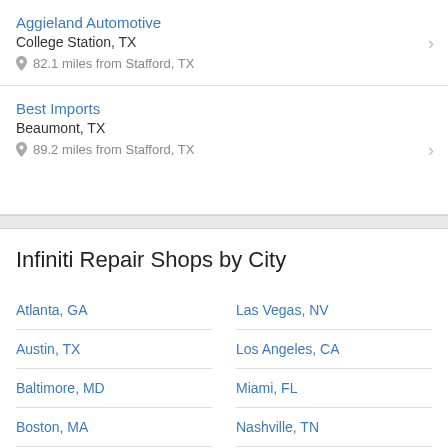Aggieland Automotive
College Station, TX
82.1 miles from Stafford, TX
Best Imports
Beaumont, TX
89.2 miles from Stafford, TX
Infiniti Repair Shops by City
Atlanta, GA
Las Vegas, NV
Austin, TX
Los Angeles, CA
Baltimore, MD
Miami, FL